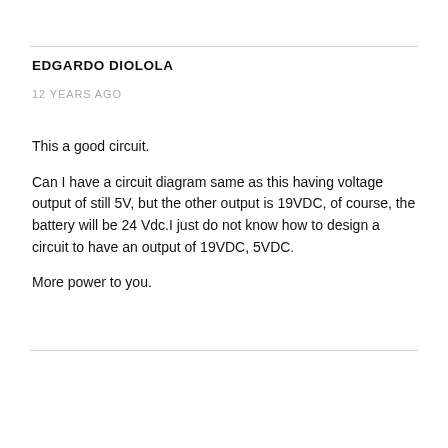EDGARDO DIOLOLA
12 YEARS AGO
This a good circuit.
Can I have a circuit diagram same as this having voltage output of still 5V, but the other output is 19VDC, of course, the battery will be 24 Vdc.I just do not know how to design a circuit to have an output of 19VDC, 5VDC.
More power to you.